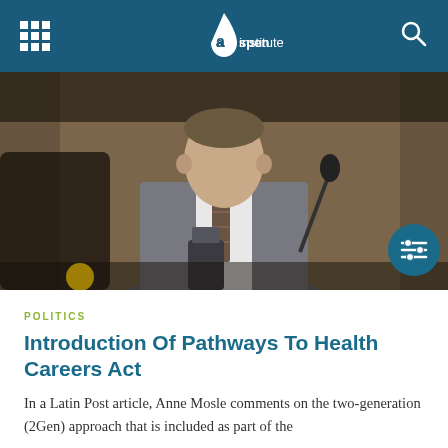aspen institute
[Figure (photo): A man in a grey suit and striped tie speaking at what appears to be a Senate or congressional hearing, seated at a table with a microphone, wooden panel background.]
POLITICS
Introduction Of Pathways To Health Careers Act
In a Latin Post article, Anne Mosle comments on the two-generation (2Gen) approach that is included as part of the